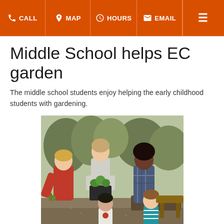CALL  MAP  HOURS  EMAIL
Middle School helps EC garden
The middle school students enjoy helping the early childhood students with gardening.
[Figure (photo): Middle school students helping early childhood students with gardening outdoors. Several older students are showing younger children plants and seedlings in a garden setting with trees in the background.]